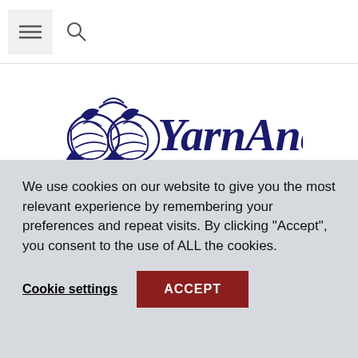[Figure (logo): YarnAndy logo with yarn ball bird icon and cursive YarnAndy text in dark navy blue]
Home / Crochet patterns / Home goods / Blanket
We use cookies on our website to give you the most relevant experience by remembering your preferences and repeat visits. By clicking “Accept”, you consent to the use of ALL the cookies.
Cookie settings
ACCEPT